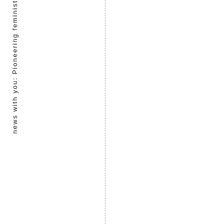news with you: Pioneering feminist